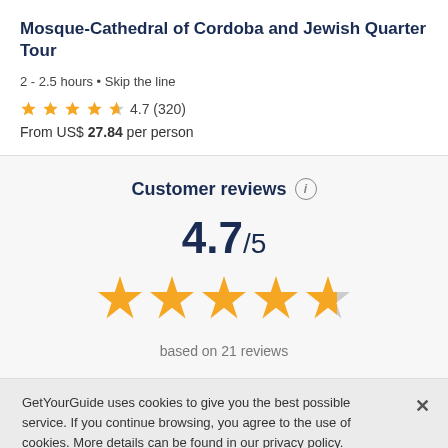Mosque-Cathedral of Cordoba and Jewish Quarter Tour
2 - 2.5 hours • Skip the line
4.7 (320)
From US$ 27.84 per person
Customer reviews
4.7/5
based on 21 reviews
GetYourGuide uses cookies to give you the best possible service. If you continue browsing, you agree to the use of cookies. More details can be found in our privacy policy.